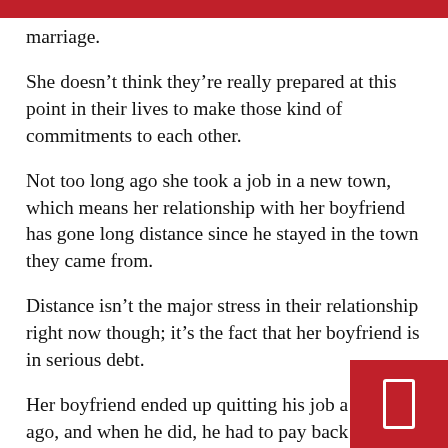marriage.
She doesn’t think they’re really prepared at this point in their lives to make those kind of commitments to each other.
Not too long ago she took a job in a new town, which means her relationship with her boyfriend has gone long distance since he stayed in the town they came from.
Distance isn’t the major stress in their relationship right now though; it’s the fact that her boyfriend is in serious debt.
Her boyfriend ended up quitting his job a year ago, and when he did, he had to pay back his work f… studies he never finished.
In the 3 months since quitting, he said he needed a…